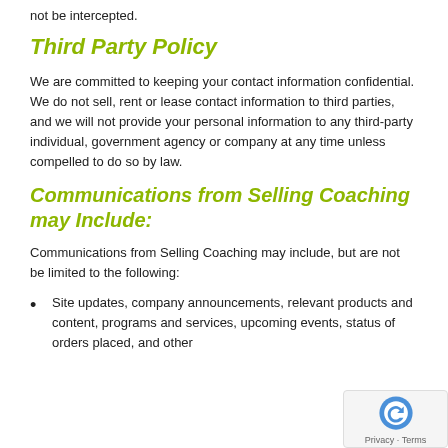not be intercepted.
Third Party Policy
We are committed to keeping your contact information confidential. We do not sell, rent or lease contact information to third parties, and we will not provide your personal information to any third-party individual, government agency or company at any time unless compelled to do so by law.
Communications from Selling Coaching may Include:
Communications from Selling Coaching may include, but are not be limited to the following:
Site updates, company announcements, relevant products and content, programs and services, upcoming events, status of orders placed, and other